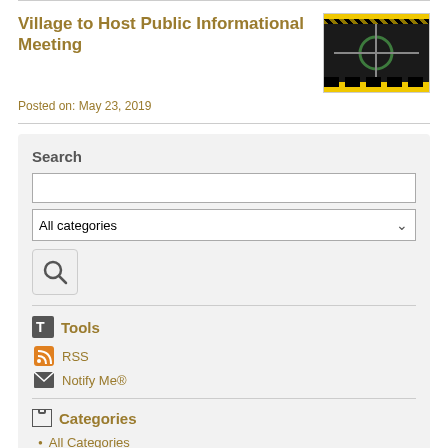Village to Host Public Informational Meeting
[Figure (photo): Small thumbnail image showing a road construction or roundabout aerial view with yellow and black hazard stripes border]
Posted on: May 23, 2019
Search
Tools
RSS
Notify Me®
Categories
All Categories
Pingree Grove News